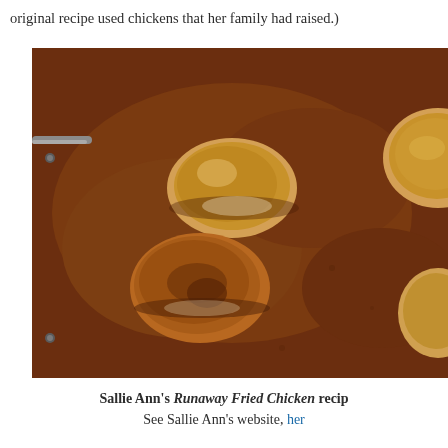original recipe used chickens that her family had raised.)
[Figure (photo): Fried chicken pieces cooking in rich brown gravy in a copper/terracotta roasting pan, viewed from above. Several golden-brown chicken thighs are visible in the sauce.]
Sallie Ann's Runaway Fried Chicken recip… See Sallie Ann's website, her…